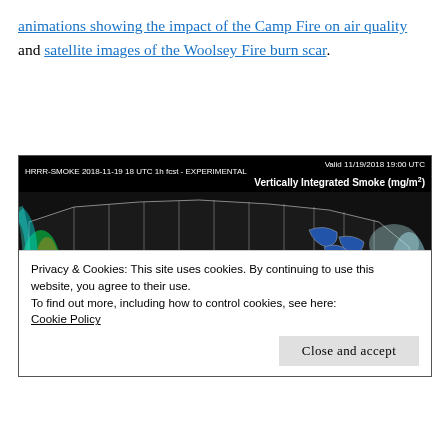animations showing the impact of the Camp Fire on air quality and satellite images of the Woolsey Fire burn scar.
[Figure (map): HRRR-SMOKE 2018-11-19 18 UTC 1h fcst - EXPERIMENTAL forecast map showing Vertically Integrated Smoke (mg/m²) across the continental United States. Valid 11/19/2018 19:00 UTC. Shows smoke plume from California wildfires (Camp Fire/Woolsey Fire) with high concentration (red/orange/yellow/green) along California coast and lighter smoke (blue) extending east across the US.]
Privacy & Cookies: This site uses cookies. By continuing to use this website, you agree to their use.
To find out more, including how to control cookies, see here: Cookie Policy